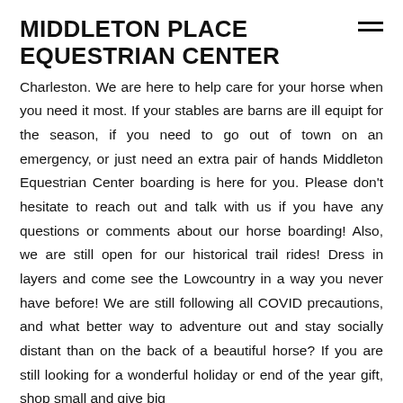MIDDLETON PLACE EQUESTRIAN CENTER
Charleston. We are here to help care for your horse when you need it most. If your stables are barns are ill equipt for the season, if you need to go out of town on an emergency, or just need an extra pair of hands Middleton Equestrian Center boarding is here for you. Please don't hesitate to reach out and talk with us if you have any questions or comments about our horse boarding! Also, we are still open for our historical trail rides! Dress in layers and come see the Lowcountry in a way you never have before! We are still following all COVID precautions, and what better way to adventure out and stay socially distant than on the back of a beautiful horse? If you are still looking for a wonderful holiday or end of the year gift, shop small and give big